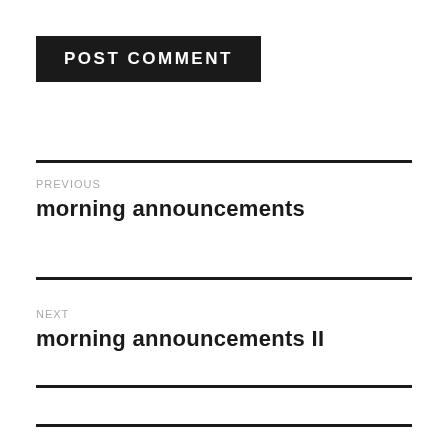POST COMMENT
PREVIOUS
morning announcements
NEXT
morning announcements II